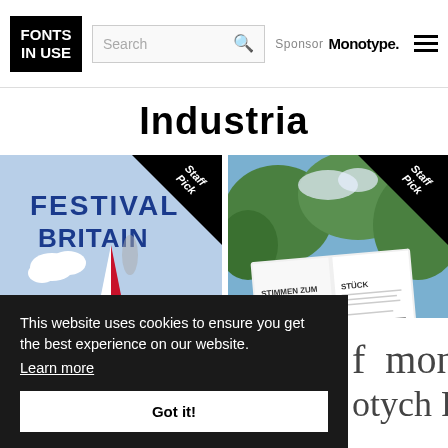FONTS IN USE — Search — Sponsor Monotype.
Industria
[Figure (photo): Festival Britain poster showing compass rose star over map of Britain with 'FESTIVAL BRITAIN' text and 'Staff Pick' badge]
[Figure (photo): Hand holding open booklet/program with 'STIMMEN ZUM STUCK' text and 'Staff Pick' badge]
This website uses cookies to ensure you get the best experience on our website. Learn more
Got it!
f  mono
otych Rom.